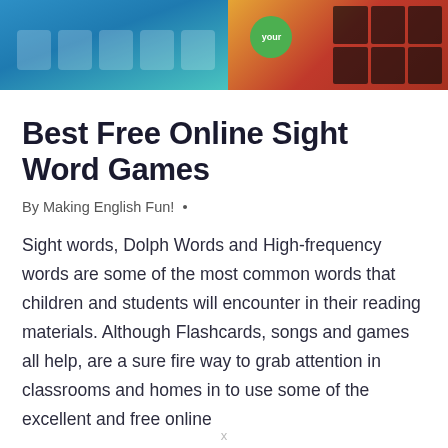[Figure (screenshot): Banner image showing two screenshots side by side: left side with blue background and card slots, right side showing a colorful building scene with a green 'your' bubble and character]
Best Free Online Sight Word Games
By Making English Fun!  •
Sight words, Dolph Words and High-frequency words are some of the most common words that children and students will encounter in their reading materials. Although Flashcards, songs and games all help, are a sure fire way to grab attention in classrooms and homes in to use some of the excellent and free online